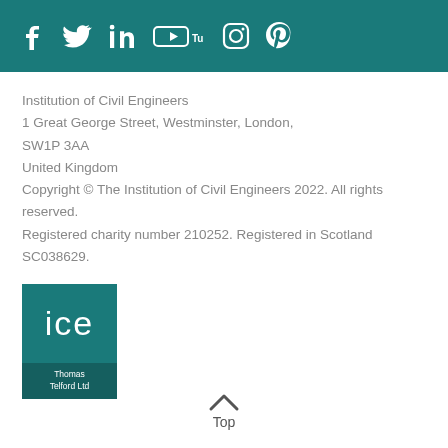Social media icons: Facebook, Twitter, LinkedIn, YouTube, Instagram, Pinterest
Institution of Civil Engineers
1 Great George Street, Westminster, London,
SW1P 3AA
United Kingdom
Copyright © The Institution of Civil Engineers 2022. All rights reserved.
Registered charity number 210252. Registered in Scotland SC038629.
[Figure (logo): ICE Thomas Telford Ltd logo — teal square with 'ice' in white lowercase letters and 'Thomas Telford Ltd' in a darker teal bar at the bottom]
Top